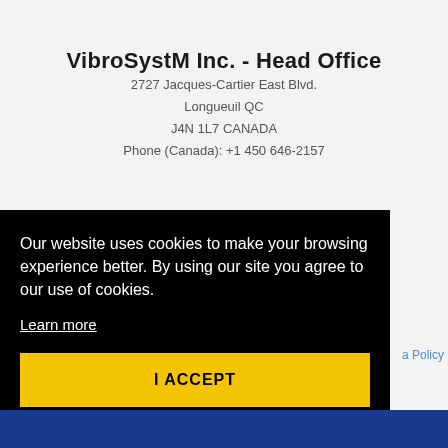VibroSystM Inc. - Head Office
2727 Jacques-Cartier East Blvd.
Longueuil QC
J4N 1L7 CANADA
Phone (Canada): +1 450 646-2157
Our website uses cookies to make your browsing experience better. By using our site you agree to our use of cookies.
Learn more
I ACCEPT
Policy